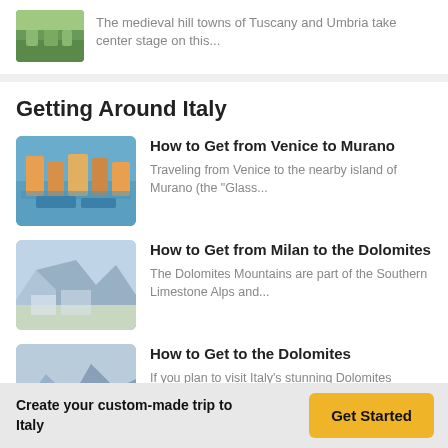[Figure (photo): Small thumbnail of Tuscany hill town, green landscape]
The medieval hill towns of Tuscany and Umbria take center stage on this...
Getting Around Italy
[Figure (photo): Venice canal with colorful buildings and boats]
How to Get from Venice to Murano
Traveling from Venice to the nearby island of Murano (the "Glass...
[Figure (photo): Mountain landscape of the Dolomites with snow and town]
How to Get from Milan to the Dolomites
The Dolomites Mountains are part of the Southern Limestone Alps and...
[Figure (photo): Cyclist on mountain road near Dolomites]
How to Get to the Dolomites
If you plan to visit Italy's stunning Dolomites mountain range, the city...
Create your custom-made trip to Italy